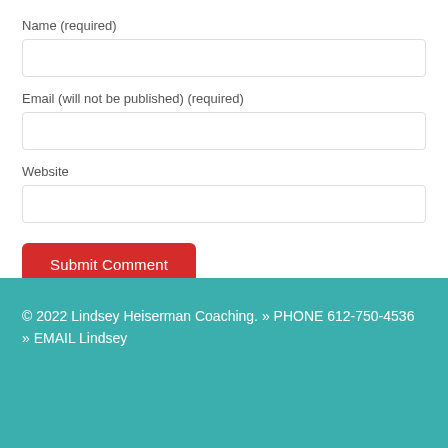Name (required)
Email (will not be published) (required)
Website
Submit Comment
© 2022 Lindsey Heiserman Coaching. » PHONE 612-750-4536 » EMAIL Lindsey